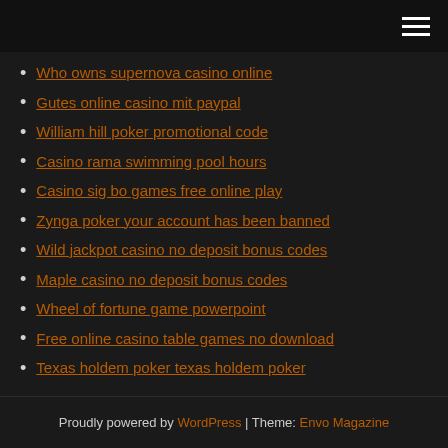navigation menu icon
Who owns supernova casino online
Gutes online casino mit paypal
William hill poker promotional code
Casino rama swimming pool hours
Casino sig bo games free online play
Zynga poker your account has been banned
Wild jackpot casino no deposit bonus codes
Maple casino no deposit bonus codes
Wheel of fortune game powerpoint
Free online casino table games no download
Texas holdem poker texas holdem poker
Proudly powered by WordPress | Theme: Envo Magazine